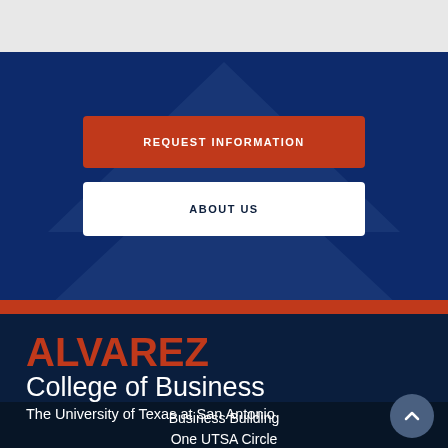[Figure (screenshot): Top gray header bar of a university website]
REQUEST INFORMATION
ABOUT US
ALVAREZ College of Business The University of Texas at San Antonio
Business Building
One UTSA Circle